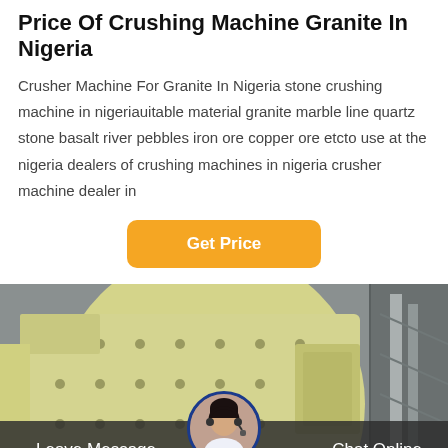Price Of Crushing Machine Granite In Nigeria
Crusher Machine For Granite In Nigeria stone crushing machine in nigeriauitable material granite marble line quartz stone basalt river pebbles iron ore copper ore etcto use at the nigeria dealers of crushing machines in nigeria crusher machine dealer in
[Figure (other): Orange rounded rectangle button with white bold text 'Get Price']
[Figure (photo): Photo of a large yellow industrial crushing machine inside a warehouse or industrial facility. A customer service representative avatar circle is overlaid at the bottom center.]
Leave Message
Chat Online